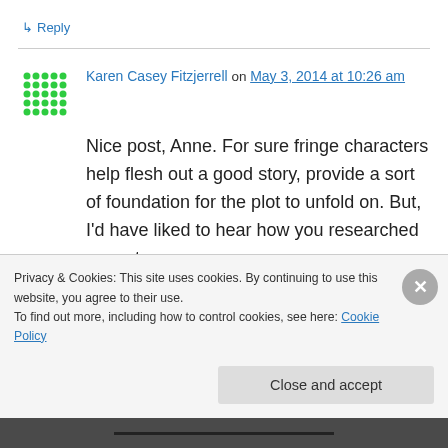↳ Reply
Karen Casey Fitzjerrell on May 3, 2014 at 10:26 am
Nice post, Anne. For sure fringe characters help flesh out a good story, provide a sort of foundation for the plot to unfold on. But, I'd have liked to hear how you researched your story
Privacy & Cookies: This site uses cookies. By continuing to use this website, you agree to their use.
To find out more, including how to control cookies, see here: Cookie Policy
Close and accept